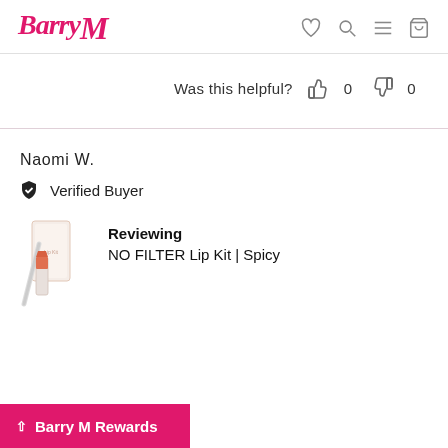Barry M
Was this helpful? 👍 0 👎 0
Naomi W.
Verified Buyer
Reviewing
NO FILTER Lip Kit | Spicy
Barry M Rewards